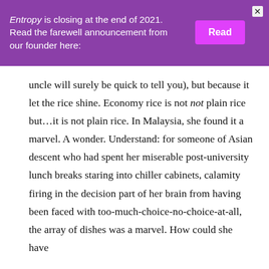Entropy is closing at the end of 2021. Read the farewell announcement from our founder here: [Read]
uncle will surely be quick to tell you), but because it let the rice shine. Economy rice is not not plain rice but...it is not plain rice. In Malaysia, she found it a marvel. A wonder. Understand: for someone of Asian descent who had spent her miserable post-university lunch breaks staring into chiller cabinets, calamity firing in the decision part of her brain from having been faced with too-much-choice-no-choice-at-all, the array of dishes was a marvel. How could she have